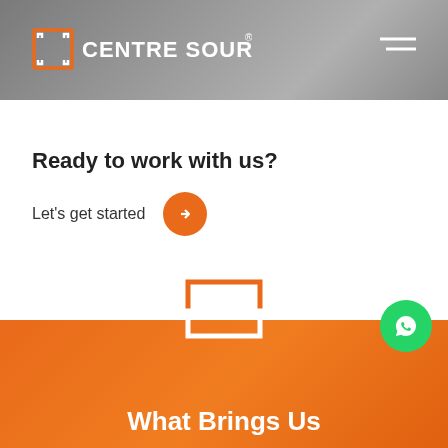[Figure (logo): Centre Source logo with bracket icon and white text on grey background header, and hamburger menu icon on the right]
Ready to work with us?
Let's get started →
[Figure (illustration): Centre Source bracket/frame icon centered, transitioning from white background to orange background section]
What Brings Us
[Figure (illustration): Green circle WhatsApp phone icon button on right side]